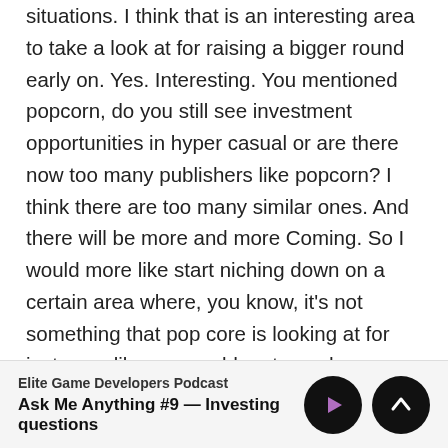situations. I think that is an interesting area to take a look at for raising a bigger round early on. Yes. Interesting. You mentioned popcorn, do you still see investment opportunities in hyper casual or are there now too many publishers like popcorn? I think there are too many similar ones. And there will be more and more Coming. So I would more like start niching down on a certain area where, you know, it's not something that pop core is looking at for instance, like you could go towards a more hardcore, kind of like a male skewed audience segment of hyper casual or something like that, where you can differentiate and you have a big enough audience there that you can really like so that you're you're ruling that genre because of your unique insights, something like that would be interesting
Elite Game Developers Podcast
Ask Me Anything #9 — Investing questions